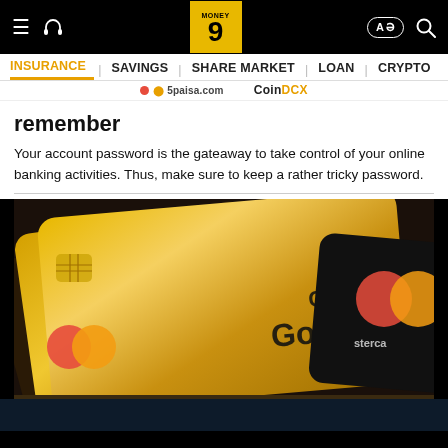Money9 — INSURANCE | SAVINGS | SHARE MARKET | LOAN | CRYPTO
remember
Your account password is the gateaway to take control of your online banking activities. Thus, make sure to keep a rather tricky password.
[Figure (photo): Close-up photo of multiple gold credit cards including a Mastercard Credit Gold card fanned out on a dark background]